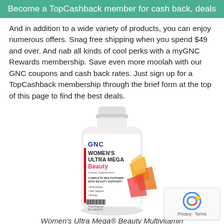Become a TopCashback member for cash back, deals
And in addition to a wide variety of products, you can enjoy numerous offers. Snag free shipping when you spend $49 and over. And nab all kinds of cool perks with a myGNC Rewards membership. Save even more moolah with our GNC coupons and cash back rates. Just sign up for a TopCashback membership through the brief form at the top of this page to find the best deals.
[Figure (photo): GNC Women's Ultra Mega Beauty Multivitamin supplement bottle, white with colorful design featuring orange, yellow, and red abstract shapes on the label.]
Women's Ultra Mega® Beauty Multivitamin